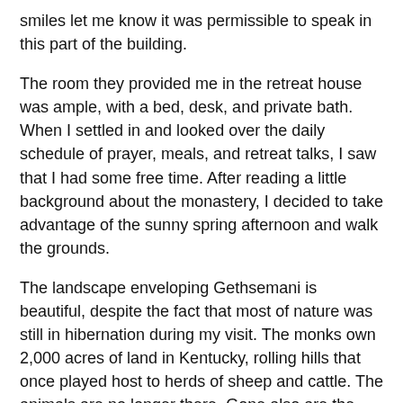smiles let me know it was permissible to speak in this part of the building.
The room they provided me in the retreat house was ample, with a bed, desk, and private bath. When I settled in and looked over the daily schedule of prayer, meals, and retreat talks, I saw that I had some free time. After reading a little background about the monastery, I decided to take advantage of the sunny spring afternoon and walk the grounds.
The landscape enveloping Gethsemani is beautiful, despite the fact that most of nature was still in hibernation during my visit. The monks own 2,000 acres of land in Kentucky, rolling hills that once played host to herds of sheep and cattle. The animals are no longer there. Gone also are the acres of vegetable gardens that once fed the monks their modest meals.